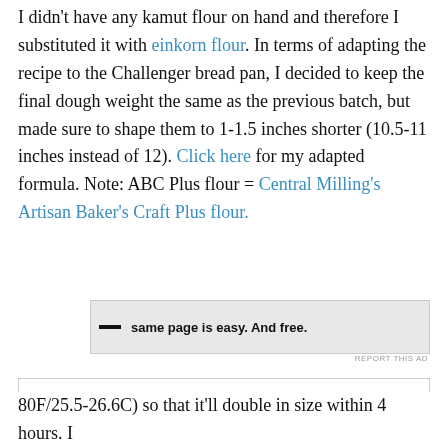I didn't have any kamut flour on hand and therefore I substituted it with einkorn flour. In terms of adapting the recipe to the Challenger bread pan, I decided to keep the final dough weight the same as the previous batch, but made sure to shape them to 1-1.5 inches shorter (10.5-11 inches instead of 12). Click here for my adapted formula. Note: ABC Plus flour = Central Milling's Artisan Baker's Craft Plus flour.
[Figure (other): Advertisement banner with dash icon and text 'same page is easy. And free.']
REPORT THIS AD
Privacy & Cookies: This site uses cookies. By continuing to use this website, you agree to their use.
To find out more, including how to control cookies, see here: Cookie Policy
Close and accept
80F/25.5-26.6C) so that it'll double in size within 4 hours. I